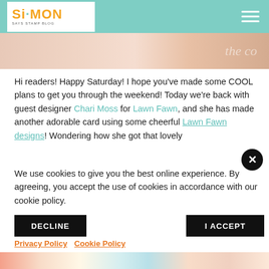Simon Says Stamp Blog
[Figure (photo): Partial view of a craft/card image with cursive text overlay]
Hi readers! Happy Saturday! I hope you've made some COOL plans to get you through the weekend! Today we're back with guest designer Chari Moss for Lawn Fawn, and she has made another adorable card using some cheerful Lawn Fawn designs! Wondering how she got that lovely
We use cookies to give you the best online experience. By agreeing, you accept the use of cookies in accordance with our cookie policy.
DECLINE   I ACCEPT
Privacy Policy   Cookie Policy
[Figure (photo): Bottom strip of a crafting card image with colorful patterns]